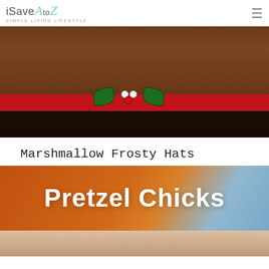iSaveAtoZ - SIMPLE LIVING LIFESTYLE
[Figure (photo): Close-up of a chocolate marshmallow top hat decorated with a red ribbon band and green holly leaves with white and red berries]
Marshmallow Frosty Hats
[Figure (photo): Image with text overlay reading 'Pretzel Chicks' on a warm orange-brown background with light blue accent]